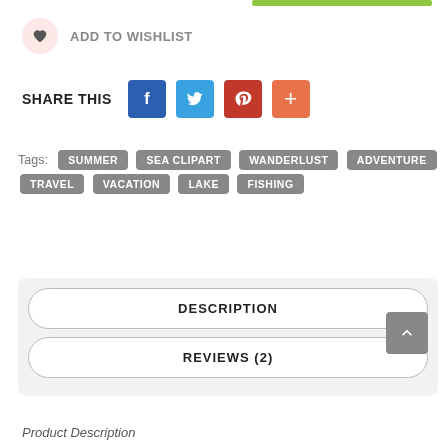ADD TO WISHLIST
SHARE THIS
Tags: SUMMER SEA CLIPART WANDERLUST ADVENTURE TRAVEL VACATION LAKE FISHING
DESCRIPTION
REVIEWS (2)
Product Description